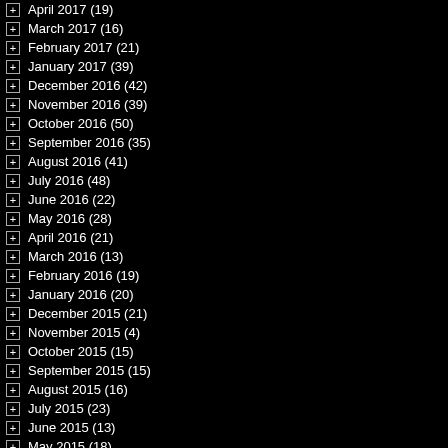April 2017 (19)
March 2017 (16)
February 2017 (21)
January 2017 (39)
December 2016 (42)
November 2016 (39)
October 2016 (50)
September 2016 (35)
August 2016 (41)
July 2016 (48)
June 2016 (22)
May 2016 (28)
April 2016 (21)
March 2016 (13)
February 2016 (19)
January 2016 (20)
December 2015 (21)
November 2015 (4)
October 2015 (15)
September 2015 (15)
August 2015 (16)
July 2015 (23)
June 2015 (13)
May 2015 (18)